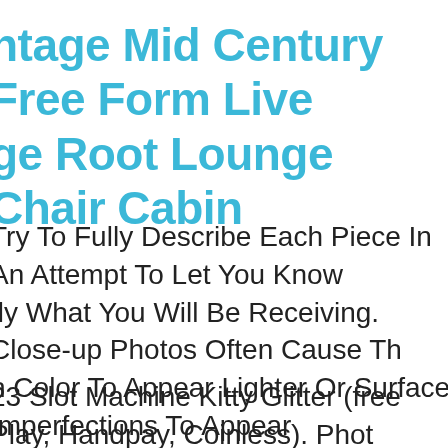ntage Mid Century Free Form Live ge Root Lounge Chair Cabin
Try To Fully Describe Each Piece In An Attempt To Let You Know Exactly What You Will Be Receiving. Close-up Photos Often Cause The Color To Appear Lighter Or Surface Imperfections To Appear Or More Severe Than When The Item Is Viewed Directly.
23 Slot Machine Kitty Glitter (free Play, Handpay, Coinless). Photo Image. Machine May Vary In Cabinet Style Or Type. Machine Coinless. We Have A Large Variety Of Slot Machines In Stock. We Will Send You A Video Of Your Machine Working Before Shipping. Important: If You Have Any Questions Please Ask Via Message Prior To Bidding. Other Game Titles Are Available Just Let Me Know What Game Theme You Are Looking For. Machine Features ---accepts Paper Dispense A Useless Ticket Which Is Not Reusable. A Short Customization Can Be Programmed. ---main Door Lock And Key. ---attendant